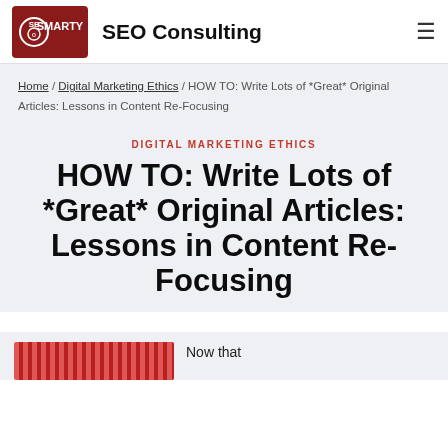SEO Consulting
Home / Digital Marketing Ethics / HOW TO: Write Lots of *Great* Original Articles: Lessons in Content Re-Focusing
DIGITAL MARKETING ETHICS
HOW TO: Write Lots of *Great* Original Articles: Lessons in Content Re-Focusing
Now that